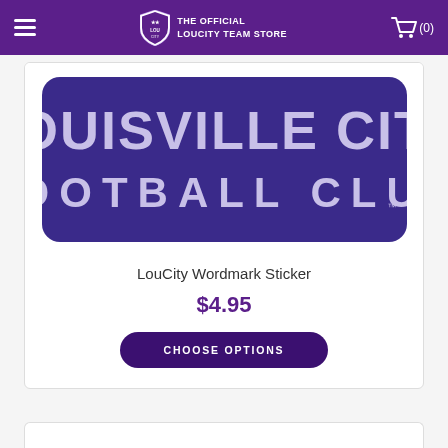THE OFFICIAL LOUCITY TEAM STORE
[Figure (illustration): Purple rectangular sticker with 'LOUISVILLE CITY FOOTBALL CLUB' white text on dark purple background with rounded corners]
LouCity Wordmark Sticker
$4.95
CHOOSE OPTIONS